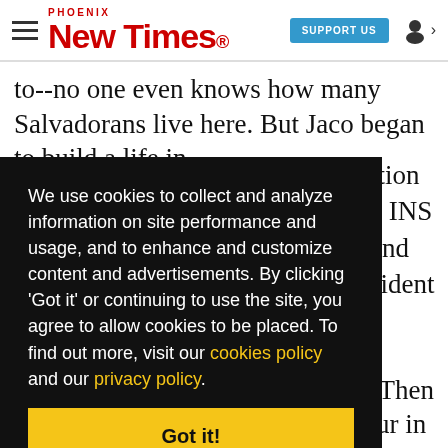Phoenix New Times — SUPPORT US
to--no one even knows how many Salvadorans live here. But Jaco began to build a life in
ision e INS and sident
We use cookies to collect and analyze information on site performance and usage, and to enhance and customize content and advertisements. By clicking 'Got it' or continuing to use the site, you agree to allow cookies to be placed. To find out more, visit our cookies policy and our privacy policy.
Got it!
l Then in
group. press and cheer. To pay your in